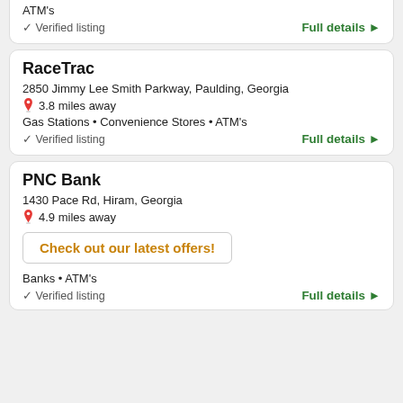ATM's
✓ Verified listing
Full details ▶
RaceTrac
2850 Jimmy Lee Smith Parkway, Paulding, Georgia
📍 3.8 miles away
Gas Stations • Convenience Stores • ATM's
✓ Verified listing
Full details ▶
PNC Bank
1430 Pace Rd, Hiram, Georgia
📍 4.9 miles away
Check out our latest offers!
Banks • ATM's
✓ Verified listing
Full details ▶